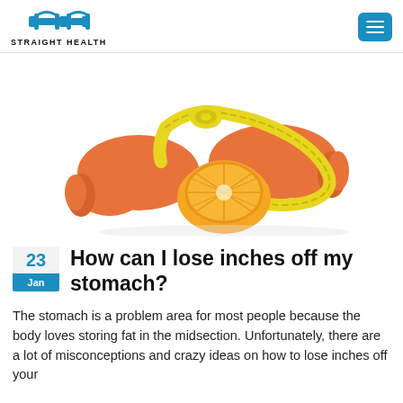STRAIGHT HEALTH
[Figure (photo): Two orange dumbbells with a yellow measuring tape and a halved orange fruit arranged together on a white background]
How can I lose inches off my stomach?
The stomach is a problem area for most people because the body loves storing fat in the midsection. Unfortunately, there are a lot of misconceptions and crazy ideas on how to lose inches off your